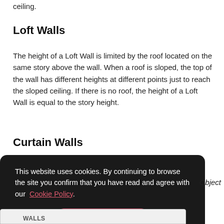ceiling.
Loft Walls
The height of a Loft Wall is limited by the roof located on the same story above the wall. When a roof is sloped, the top of the wall has different heights at different points just to reach the sloped ceiling. If there is no roof, the height of a Loft Wall is equal to the story height.
Curtain Walls
This website uses cookies. By continuing to browse the site you confirm that you have read and agree with our Cookie Policy.
Dismiss
Object
WALLS